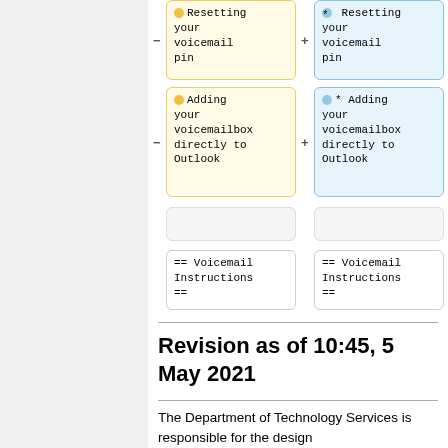[Figure (screenshot): Diff view showing two columns. Left (yellow) column: bullet 'Resetting your voicemail pin' with minus sign; bullet 'Adding your voicemailbox directly to Outlook' with minus sign; blank cell; plain cell with '== Voicemail Instructions =='. Right (blue) column: bullet 'Resetting your voicemail pin' with plus sign; bullet 'Adding your voicemailbox directly to Outlook' with plus sign; blank cell; plain cell with '== Voicemail Instructions =='.]
Revision as of 10:45, 5 May 2021
The Department of Technology Services is responsible for the design